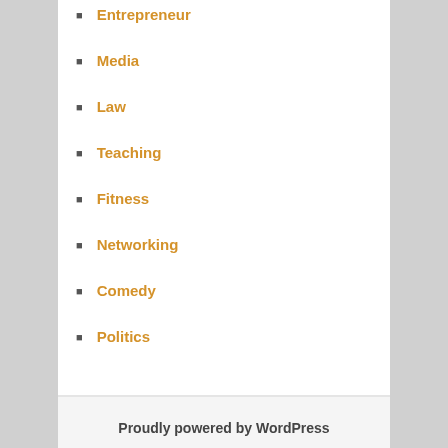Entrepreneur
Media
Law
Teaching
Fitness
Networking
Comedy
Politics
META
Log in
Entries feed
Comments feed
WordPress.org
Proudly powered by WordPress